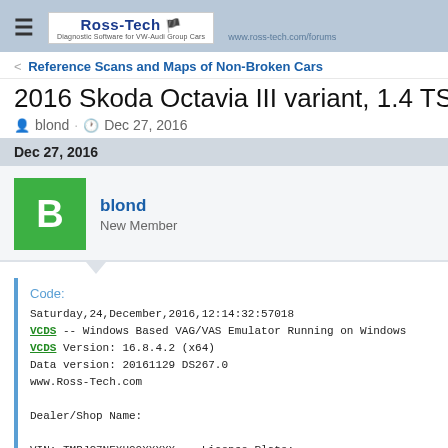Ross-Tech — Diagnostic Software for VW-Audi Group Cars
< Reference Scans and Maps of Non-Broken Cars
2016 Skoda Octavia III variant, 1.4 TSI 150 HP / 110
blond · Dec 27, 2016
Dec 27, 2016
blond
New Member
Code:
Saturday,24,December,2016,12:14:32:57018
VCDS -- Windows Based VAG/VAS Emulator Running on Windows
VCDS Version: 16.8.4.2 (x64)
Data version: 20161129 DS267.0
www.Ross-Tech.com

Dealer/Shop Name:

VIN: TMBJC7NEXH00XXXXX   License Plate:
Mileage: 295km-183mi   Repair Order: